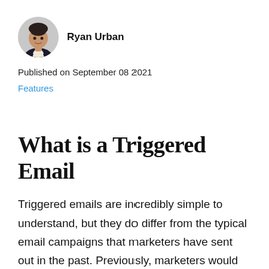[Figure (photo): Circular profile photo of Ryan Urban, a man in a dark blazer]
Ryan Urban
Published on September 08 2021
Features
What is a Triggered Email
Triggered emails are incredibly simple to understand, but they do differ from the typical email campaigns that marketers have sent out in the past. Previously, marketers would pull together their CRM lists of